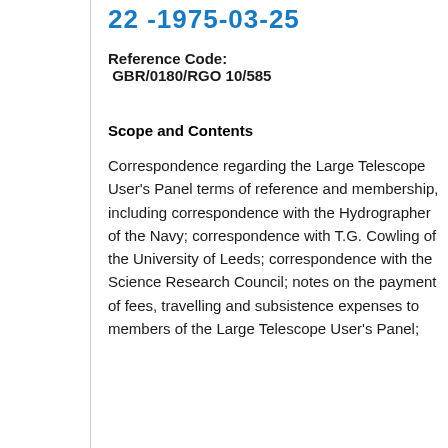22 -1975-03-25
Reference Code: GBR/0180/RGO 10/585
Scope and Contents
Correspondence regarding the Large Telescope User's Panel terms of reference and membership, including correspondence with the Hydrographer of the Navy; correspondence with T.G. Cowling of the University of Leeds; correspondence with the Science Research Council; notes on the payment of fees, travelling and subsistence expenses to members of the Large Telescope User's Panel;